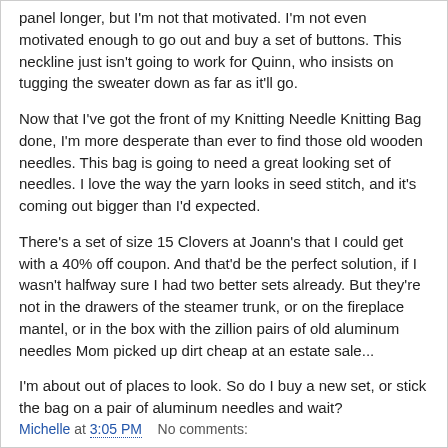panel longer, but I'm not that motivated. I'm not even motivated enough to go out and buy a set of buttons. This neckline just isn't going to work for Quinn, who insists on tugging the sweater down as far as it'll go.
Now that I've got the front of my Knitting Needle Knitting Bag done, I'm more desperate than ever to find those old wooden needles. This bag is going to need a great looking set of needles. I love the way the yarn looks in seed stitch, and it's coming out bigger than I'd expected.
There's a set of size 15 Clovers at Joann's that I could get with a 40% off coupon. And that'd be the perfect solution, if I wasn't halfway sure I had two better sets already. But they're not in the drawers of the steamer trunk, or on the fireplace mantel, or in the box with the zillion pairs of old aluminum needles Mom picked up dirt cheap at an estate sale...
I'm about out of places to look. So do I buy a new set, or stick the bag on a pair of aluminum needles and wait?
Michelle at 3:05 PM    No comments: